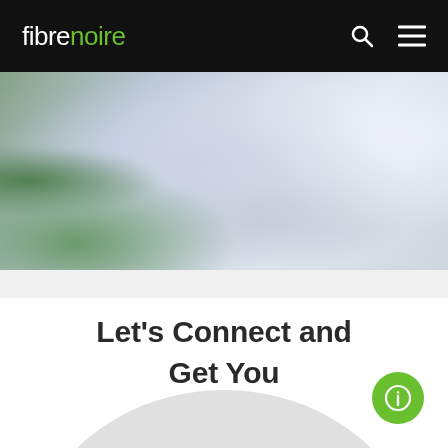fibrenoire — navigation bar with logo, search icon, and hamburger menu icon
[Figure (photo): Blurred office photo showing a person working at a desk with a laptop, a glass of water, and indoor plants in the foreground]
Let's Connect and Get You Connected
[Figure (illustration): Partial grey arc / semicircle shape at the bottom of the page, partially visible]